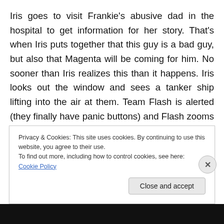Iris goes to visit Frankie's abusive dad in the hospital to get information for her story. That's when Iris puts together that this guy is a bad guy, but also that Magenta will be coming for him. No sooner than Iris realizes this than it happens. Iris looks out the window and sees a tanker ship lifting into the air at them. Team Flash is alerted (they finally have panic buttons) and Flash zooms in to save the day. There's a catch, though. Barry's not strong enough to stop that tanker and it's about to be dropped on the hospital. There's also not enough time to get everyone out
Privacy & Cookies: This site uses cookies. By continuing to use this website, you agree to their use.
To find out more, including how to control cookies, see here: Cookie Policy